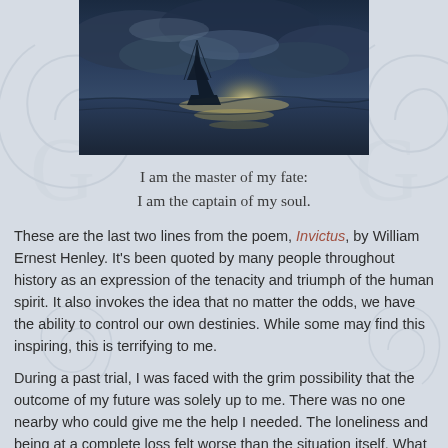[Figure (photo): A dark atmospheric oil painting of a ship on stormy seas at dusk with dramatic cloudy sky and shimmering light on water.]
I am the master of my fate:
I am the captain of my soul.
These are the last two lines from the poem, Invictus, by William Ernest Henley. It's been quoted by many people throughout history as an expression of the tenacity and triumph of the human spirit. It also invokes the idea that no matter the odds, we have the ability to control our own destinies. While some may find this inspiring, this is terrifying to me.
During a past trial, I was faced with the grim possibility that the outcome of my future was solely up to me. There was no one nearby who could give me the help I needed. The loneliness and being at a complete loss felt worse than the situation itself. What if I made a wrong decision? Not only